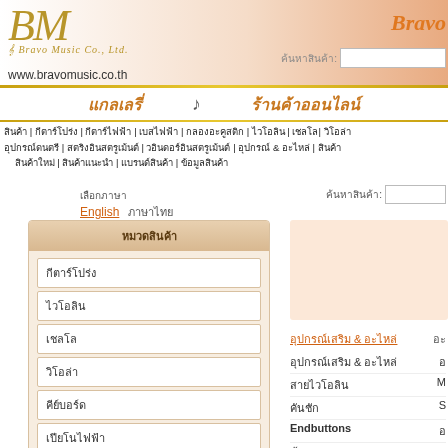[Figure (logo): BM Bravo Music Co., Ltd. logo with decorative script lettering in gold]
www.bravomusic.co.th
Bravo
แกลเลรี่   ♩   ร้านค้าออนไลน์
Navigation menu links in Thai language
English  ภาษาไทย
ค้นหาสินค้า:
หมวดสินค้า
กีตาร์โปร่ง
กีตาร์ไฟฟ้า
เบสไฟฟ้า
กลองอะคูสติก
คีย์บอร์ด
เปียโนไฟฟ้า
ไวโอลิน
เชลโล
อุปกรณ์เสริม & อะไหล่
อุปกรณ์เสริม & อะไหล่
สายไวโอลิน
คันชัก
Endbuttons
ชิ้นส่วนอุปกรณ์
น็อตและ Endpin